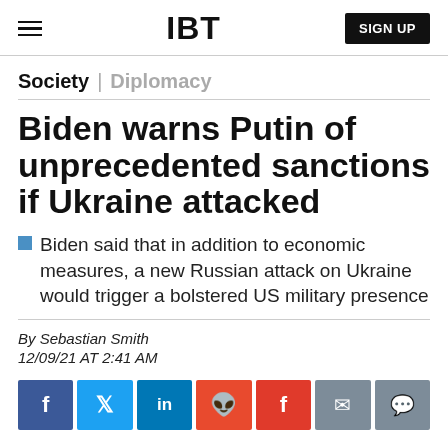IBT | SIGN UP
Society | Diplomacy
Biden warns Putin of unprecedented sanctions if Ukraine attacked
Biden said that in addition to economic measures, a new Russian attack on Ukraine would trigger a bolstered US military presence
By Sebastian Smith
12/09/21 AT 2:41 AM